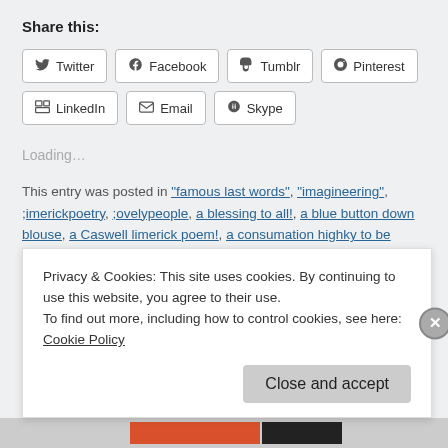Share this:
[Figure (screenshot): Row of social share buttons: Twitter, Facebook, Tumblr, Pinterest]
[Figure (screenshot): Row of social share buttons: LinkedIn, Email, Skype]
Loading...
This entry was posted in "famous last words", "imagineering", ;imerickpoetry, ;ovelypeople, a blessing to all!, a blue button down blouse, a Caswell limerick poem!, a consumation highky to be wished (Jeeves), a fashion poet?, a
Privacy & Cookies: This site uses cookies. By continuing to use this website, you agree to their use.
To find out more, including how to control cookies, see here: Cookie Policy
Close and accept